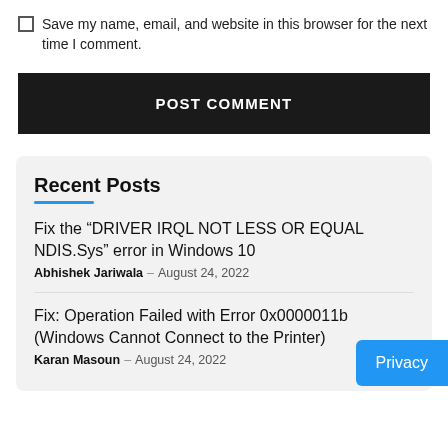Save my name, email, and website in this browser for the next time I comment.
POST COMMENT
Recent Posts
Fix the “DRIVER IRQL NOT LESS OR EQUAL NDIS.Sys” error in Windows 10
Abhishek Jariwala - August 24, 2022
Fix: Operation Failed with Error 0x0000011b (Windows Cannot Connect to the Printer)
Karan Masoun - August 24, 2022
Privacy